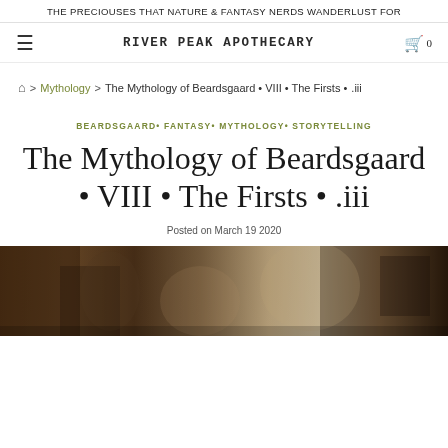THE PRECIOUSES THAT NATURE & FANTASY NERDS WANDERLUST FOR
RIVER PEAK APOTHECARY
🏠 > Mythology > The Mythology of Beardsgaard • VIII • The Firsts • .iii
BEARDSGAARD• FANTASY• MYTHOLOGY• STORYTELLING
The Mythology of Beardsgaard • VIII • The Firsts • .iii
Posted on March 19 2020
[Figure (photo): Dark fantasy/nature themed photo, bottom of page, showing rocky/earthy tones with dark brown and tan textures]